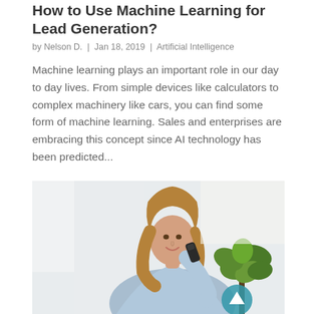How to Use Machine Learning for Lead Generation?
by Nelson D.  |  Jan 18, 2019  |  Artificial Intelligence
Machine learning plays an important role in our day to day lives. From simple devices like calculators to complex machinery like cars, you can find some form of machine learning. Sales and enterprises are embracing this concept since AI technology has been predicted...
[Figure (photo): A young woman in a light blue shirt smiling while talking on a corded phone, with a plant visible in the background. A 'Back to Top' button overlay appears in the bottom-right corner of the image.]